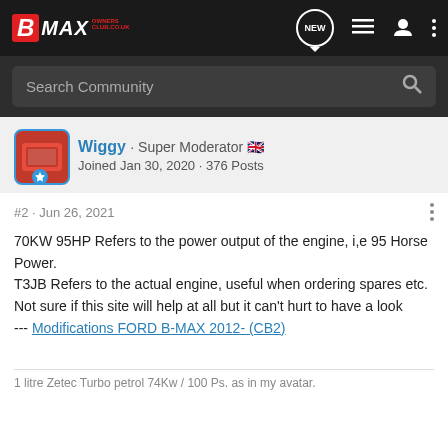B MAX OWNERS CLUB
Search Community
Wiggy · Super Moderator 🇬🇧
Joined Jan 30, 2020 · 376 Posts
#2 · Jun 26, 2021
70KW 95HP Refers to the power output of the engine, i,e 95 Horse Power.
T3JB Refers to the actual engine, useful when ordering spares etc.
Not sure if this site will help at all but it can't hurt to have a look
--- Modifications FORD B-MAX 2012- (CB2)
1 litre Zetec Turbo petrol 74Kw / 100 Ps. as in my avatar.